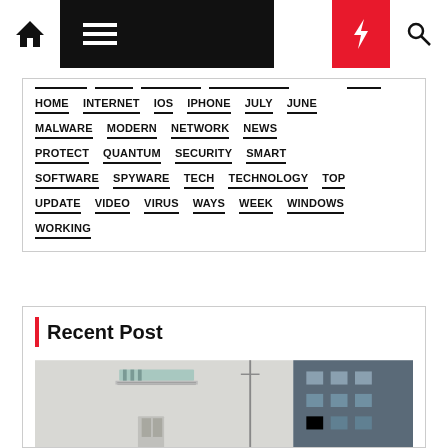Navigation bar with home, menu, moon, lightning, and search icons
HOME
INTERNET
IOS
IPHONE
JULY
JUNE
MALWARE
MODERN
NETWORK
NEWS
PROTECT
QUANTUM
SECURITY
SMART
SOFTWARE
SPYWARE
TECH
TECHNOLOGY
TOP
UPDATE
VIDEO
VIRUS
WAYS
WEEK
WINDOWS
WORKING
Recent Post
[Figure (photo): Exterior photo of apartment buildings, showing balconies and windows, partially in grey and white tones]